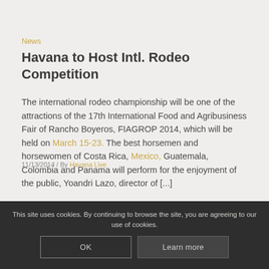News
Havana to Host Intl. Rodeo Competition
The international rodeo championship will be one of the attractions of the 17th International Food and Agribusiness Fair of Rancho Boyeros, FIAGROP 2014, which will be held on March 15-23. The best horsemen and horsewomen of Costa Rica, Mexico, Guatemala, Colombia and Panama will perform for the enjoyment of the public, Yoandri Lazo, director of [...]
11/13/2014 / By Havana Live
This site uses cookies. By continuing to browse the site, you are agreeing to our use of cookies.
OK
Learn more
News